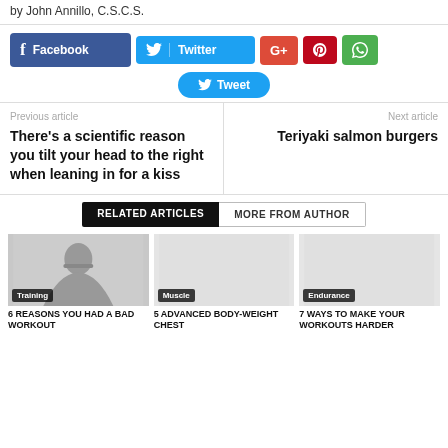by John Annillo, C.S.C.S.
[Figure (screenshot): Social media share buttons: Facebook, Twitter, G+, Pinterest, WhatsApp, and a Tweet button]
Previous article
There’s a scientific reason you tilt your head to the right when leaning in for a kiss
Next article
Teriyaki salmon burgers
RELATED ARTICLES | MORE FROM AUTHOR
[Figure (photo): Workout/training image with silhouette, badge: Training]
6 REASONS YOU HAD A BAD WORKOUT
[Figure (photo): Blank/placeholder image with badge: Muscle]
5 ADVANCED BODY-WEIGHT CHEST
[Figure (photo): Blank/placeholder image with badge: Endurance]
7 WAYS TO MAKE YOUR WORKOUTS HARDER